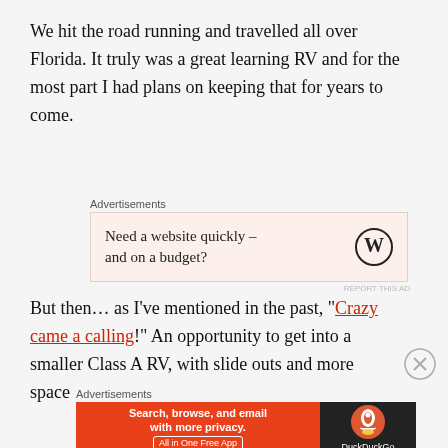We hit the road running and travelled all over Florida. It truly was a great learning RV and for the most part I had plans on keeping that for years to come.
[Figure (other): WordPress advertisement banner: 'Need a website quickly – and on a budget?' with WordPress logo on peach/salmon background]
But then… as I've mentioned in the past, "Crazy came a calling!" An opportunity to get into a smaller Class A RV, with slide outs and more space
[Figure (other): DuckDuckGo advertisement banner: 'Search, browse, and email with more privacy. All in One Free App' with DuckDuckGo logo on orange and dark background]